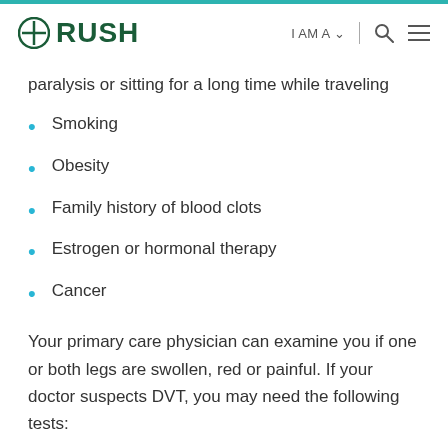RUSH | I AM A | [search] [menu]
paralysis or sitting for a long time while traveling
Smoking
Obesity
Family history of blood clots
Estrogen or hormonal therapy
Cancer
Your primary care physician can examine you if one or both legs are swollen, red or painful. If your doctor suspects DVT, you may need the following tests: